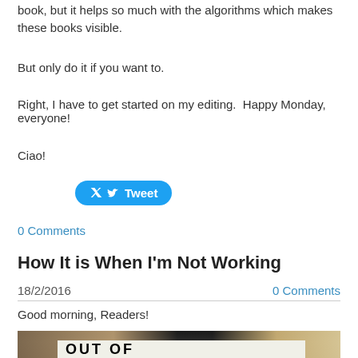book, but it helps so much with the algorithms which makes these books visible.
But only do it if you want to.
Right, I have to get started on my editing.  Happy Monday, everyone!
Ciao!
[Figure (other): Twitter Tweet button, blue rounded rectangle with bird icon and 'Tweet' text]
0 Comments
How It is When I'm Not Working
18/2/2016
0 Comments
Good morning, Readers!
[Figure (photo): Close-up photo of a person with blonde hair holding a paper sign in front of their face with text 'OUT OF' visible]